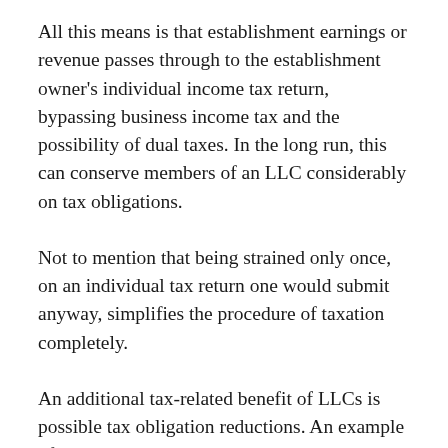All this means is that establishment earnings or revenue passes through to the establishment owner's individual income tax return, bypassing business income tax and the possibility of dual taxes. In the long run, this can conserve members of an LLC considerably on tax obligations.
Not to mention that being strained only once, on an individual tax return one would submit anyway, simplifies the procedure of taxation completely.
An additional tax-related benefit of LLCs is possible tax obligation reductions. An example of among these reductions is a more recent advantage called the Qualified Local business Income (QBI) deduction, which allows LLC owners a 20% reduction from the business's earnings, in